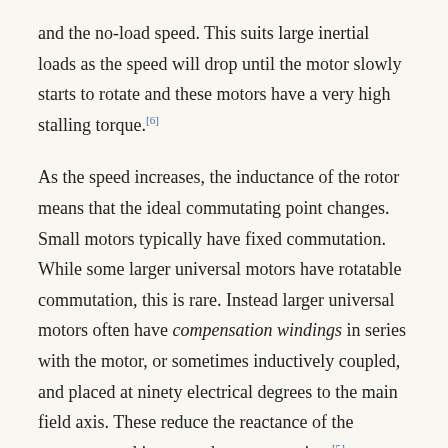and the no-load speed. This suits large inertial loads as the speed will drop until the motor slowly starts to rotate and these motors have a very high stalling torque.[6]
As the speed increases, the inductance of the rotor means that the ideal commutating point changes. Small motors typically have fixed commutation. While some larger universal motors have rotatable commutation, this is rare. Instead larger universal motors often have compensation windings in series with the motor, or sometimes inductively coupled, and placed at ninety electrical degrees to the main field axis. These reduce the reactance of the armature, and improve the commutation.[5]
One useful property of having the field windings in series with the armature winding is that as the speed increases the counter EMF naturally reduces the voltage across, and current through the field windings, giving field weakening at high speeds. This means that the motor has no theoretical maximum speed for any particular applied voltage. Universal